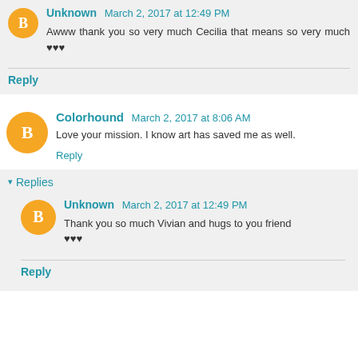Unknown March 2, 2017 at 12:49 PM
Awww thank you so very much Cecilia that means so very much ♥♥♥
Reply
Colorhound March 2, 2017 at 8:06 AM
Love your mission. I know art has saved me as well.
Reply
Replies
Unknown March 2, 2017 at 12:49 PM
Thank you so much Vivian and hugs to you friend ♥♥♥
Reply